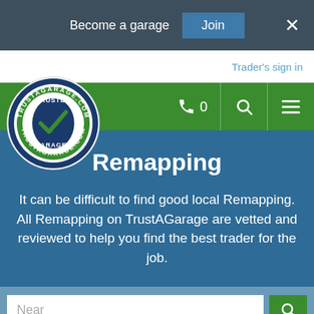Become a garage  Join  ×
Trader's sign in
[Figure (logo): TrustAGarage.com trusted garages circular logo with checkmark]
Remapping
It can be difficult to find good local Remapping. All Remapping on TrustAGarage are vetted and reviewed to help you find the best trader for the job.
Near